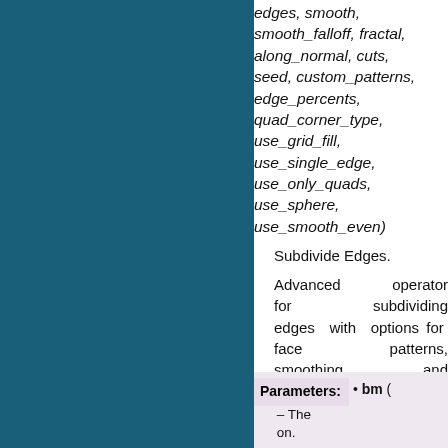edges, smooth, smooth_falloff, fractal, along_normal, cuts, seed, custom_patterns, edge_percents, quad_corner_type, use_grid_fill, use_single_edge, use_only_quads, use_sphere, use_smooth_even)
Subdivide Edges.
Advanced operator for subdividing edges with options for face patterns, smoothing and randomization.
| Parameters: | bm |
| --- | --- |
|  | – The on. |